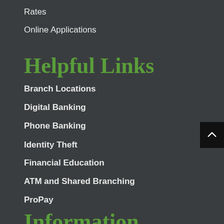Rates
Online Applications
Helpful Links
Branch Locations
Digital Banking
Phone Banking
Identity Theft
Financial Education
ATM and Shared Branching
ProPay
Information